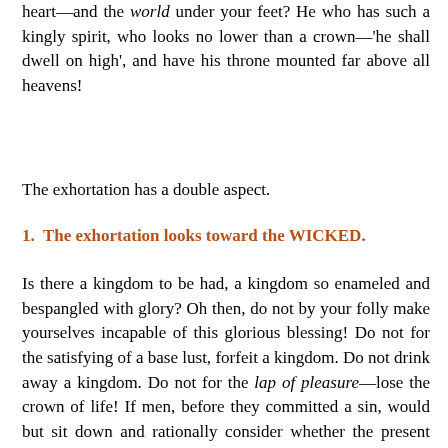heart—and the world under your feet? He who has such a kingly spirit, who looks no lower than a crown—'he shall dwell on high', and have his throne mounted far above all heavens!
The exhortation has a double aspect.
1. The exhortation looks toward the WICKED.
Is there a kingdom to be had, a kingdom so enameled and bespangled with glory? Oh then, do not by your folly make yourselves incapable of this glorious blessing! Do not for the satisfying of a base lust, forfeit a kingdom. Do not drink away a kingdom. Do not for the lap of pleasure—lose the crown of life! If men, before they committed a sin, would but sit down and rationally consider whether the present gain and sweetness in sin, would countervail the loss of the heavenly kingdom—it would put them into a cold sweat, and give some check to their unbridled lusts. Jacob took Esau by the